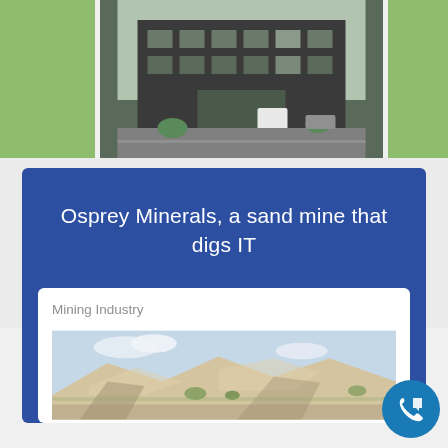[Figure (photo): Top image strip: green blocks on left and right, center photo of a dark brick/siding commercial building with parking lot and landscaping]
Osprey Minerals, a sand mine that digs IT
Mining Industry
[Figure (photo): Photo of sand mine landscape with white/tan sand mounds, blue sky with clouds, and scattered vegetation in foreground]